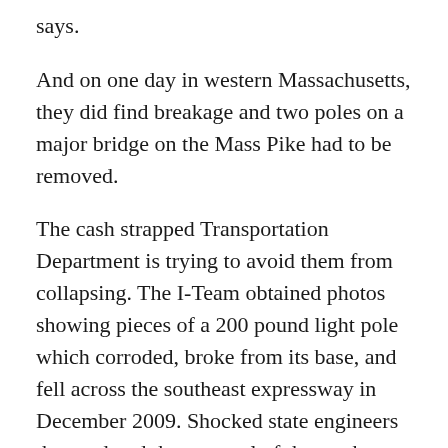says.
And on one day in western Massachusetts, they did find breakage and two poles on a major bridge on the Mass Pike had to be removed.
The cash strapped Transportation Department is trying to avoid them from collapsing. The I-Team obtained photos showing pieces of a 200 pound light pole which corroded, broke from its base, and fell across the southeast expressway in December 2009. Shocked state engineers then ordered the removal of three other poles as well.
Because of that incident, a few months later in 2010, the state began the daunting task of closely examining more than 4,000 poles, something that had never been done before.